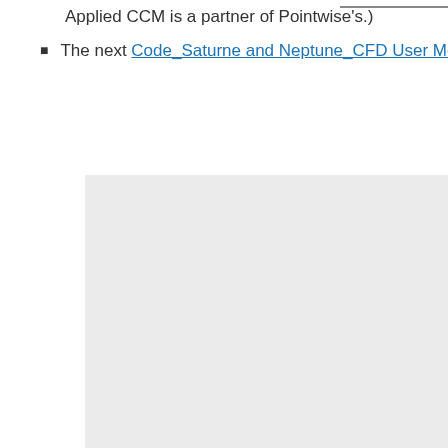Applied CCM is a partner of Pointwise's.)
The next Code_Saturne and Neptune_CFD User Meeting w…
[Figure (other): Light gray rectangular image placeholder area]